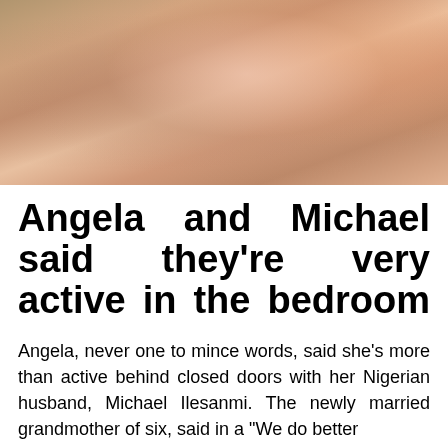[Figure (photo): Close-up photo of two people smiling together, appearing warm and close]
Angela and Michael said they're very active in the bedroom
Angela, never one to mince words, said she's more than active behind closed doors with her Nigerian husband, Michael Ilesanmi. The newly married grandmother of six, said in a "We do better